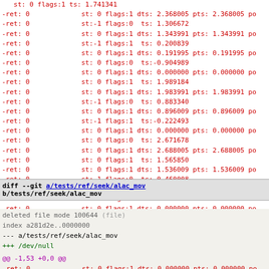diff log output lines showing -ret: 0 entries with st, flags, dts, pts values
diff --git a/tests/ref/seek/alac_mov b/tests/ref/seek/alac_mov
deleted file mode 100644 (file)
index a281d2e..0000000
--- a/tests/ref/seek/alac_mov
+++ /dev/null
@@ -1,53 +0,0 @@
-ret: 0     st: 0 flags:1 dts: 0.000000 pts: 0.000000 po
-ret: 0     st:-1 flags:0  ts:-1.000000
-ret: 0     st: 0 flags:1  ts: 0.000000